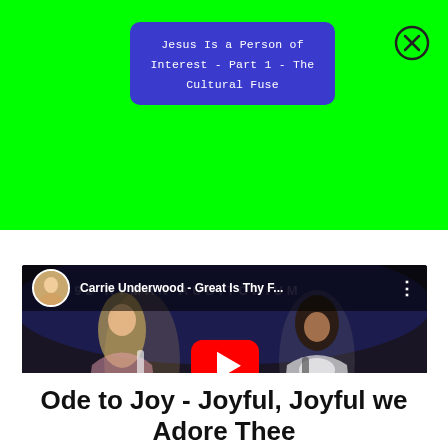[Figure (screenshot): Green banner background at top of page]
Jesus Is a Person of Interest - Part 1 - The Cultural Fuse
[Figure (screenshot): YouTube video thumbnail showing Carrie Underwood - Great Is Thy F... with two women performing on stage, vevo watermark, red play button overlay]
Ode to Joy - Joyful, Joyful we Adore Thee